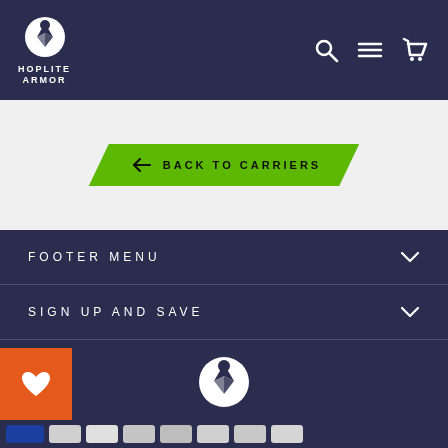Hoplite Armor navigation bar with logo, search, menu, and cart icons
[Figure (screenshot): Green back button with left arrow reading BACK TO CARRIERS]
FOOTER MENU
SIGN UP AND SAVE
[Figure (logo): Hoplite Armor logo centered in footer]
[Figure (other): Orange heart/wishlist button bottom left, payment icons bottom bar]